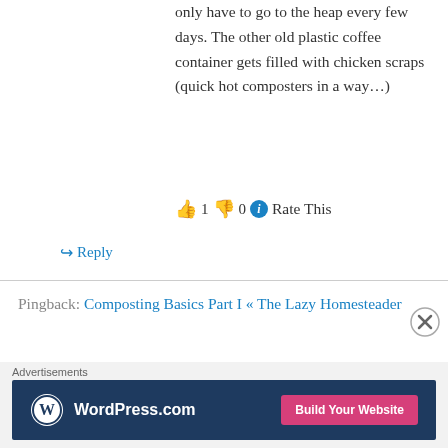only have to go to the heap every few days. The other old plastic coffee container gets filled with chicken scraps (quick hot composters in a way…)
👍 1 👎 0 ℹ Rate This
↪ Reply
Pingback: Composting Basics Part I « The Lazy Homesteader
Karen on February 8, 2012 at 11:24 am
I started collecting bags of dry leaves from the
[Figure (screenshot): WordPress.com advertisement banner with logo and 'Build Your Website' button]